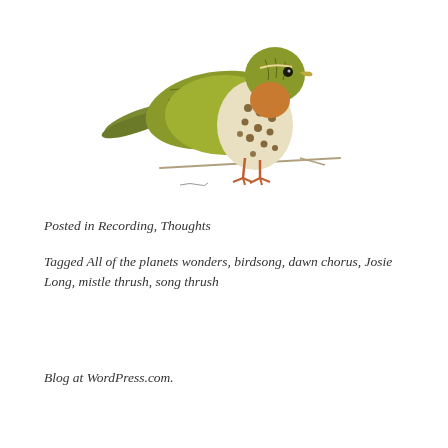[Figure (illustration): Vintage botanical-style illustration of a thrush bird (song thrush or mistle thrush) perched on a branch, showing spotted breast plumage, olive-brown back with greenish tones, and pinkish-orange legs.]
Posted in Recording, Thoughts
Tagged All of the planets wonders, birdsong, dawn chorus, Josie Long, mistle thrush, song thrush
Blog at WordPress.com.